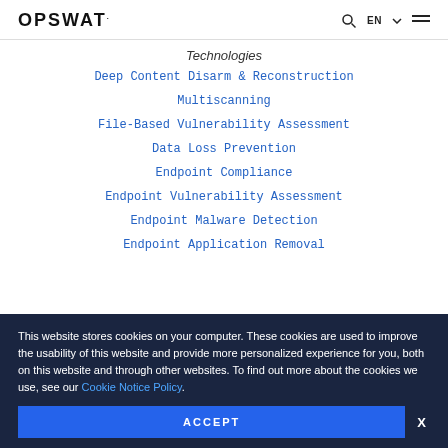OPSWAT. [search] EN [menu]
Technologies
Deep Content Disarm & Reconstruction
Multiscanning
File-Based Vulnerability Assessment
Data Loss Prevention
Endpoint Compliance
Endpoint Vulnerability Assessment
Endpoint Malware Detection
Endpoint Application Removal
This website stores cookies on your computer. These cookies are used to improve the usability of this website and provide more personalized experience for you, both on this website and through other websites. To find out more about the cookies we use, see our Cookie Notice Policy.
ACCEPT